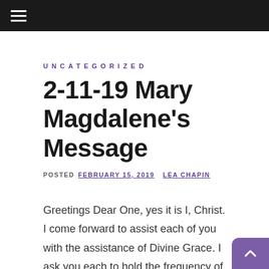≡
UNCATEGORIZED
2-11-19 Mary Magdalene's Message
POSTED FEBRUARY 15, 2019   LEA CHAPIN
Greetings Dear One, yes it is I, Christ. I come forward to assist each of you with the assistance of Divine Grace. I ask you each to hold the frequency of acceptance into